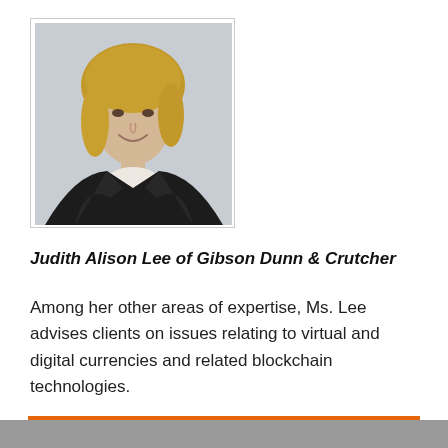[Figure (photo): Professional headshot of Judith Alison Lee, a woman with blonde shoulder-length hair wearing a dark blazer, against a light gray background.]
Judith Alison Lee of Gibson Dunn & Crutcher
Among her other areas of expertise, Ms. Lee advises clients on issues relating to virtual and digital currencies and related blockchain technologies.